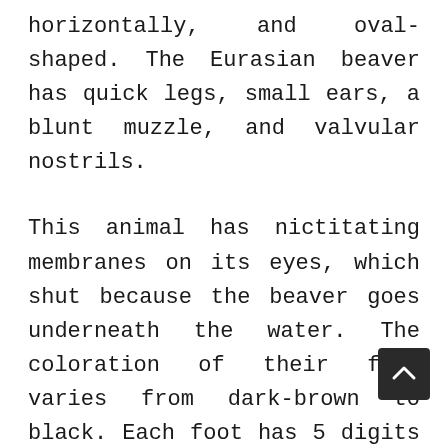horizontally, and oval-shaped. The Eurasian beaver has quick legs, small ears, a blunt muzzle, and valvular nostrils.
This animal has nictitating membranes on its eyes, which shut because the beaver goes underneath the water. The coloration of their feet varies from dark-brown to black. Each foot has 5 digits whereas rear feet are webbed with a cut-up nail within two toes, which they use for grooming.
The Eurasian beaver is a herbivorous (folivorous and lignivorous) animal. Du the winter, their diet primarily consists of